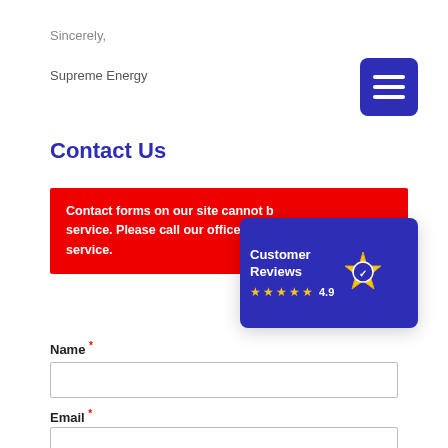Sincerely,
Supreme Energy
Contact Us
Contact forms on our site cannot be used to request service. Please call our office directly for service.
[Figure (other): Customer Reviews badge showing 4.9 star rating on blue background with gold medal icon]
Name *
Email *